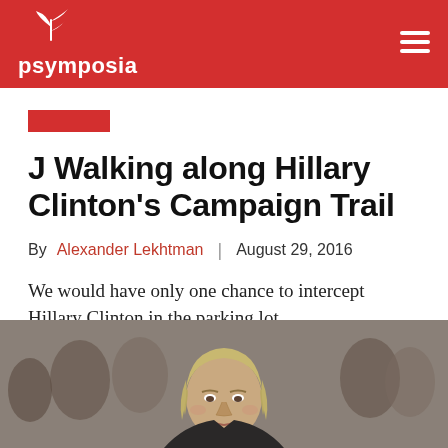psymposia
J Walking along Hillary Clinton's Campaign Trail
By Alexander Lekhtman | August 29, 2016
We would have only one chance to intercept Hillary Clinton in the parking lot.
[Figure (photo): Photo of Hillary Clinton at a public event, crowd visible in background]